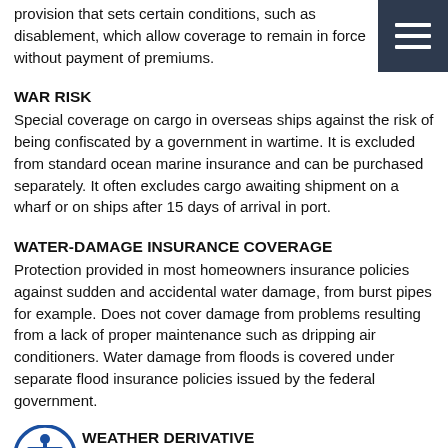provision that sets certain conditions, such as disablement, which allow coverage to remain in force without payment of premiums.
WAR RISK
Special coverage on cargo in overseas ships against the risk of being confiscated by a government in wartime. It is excluded from standard ocean marine insurance and can be purchased separately. It often excludes cargo awaiting shipment on a wharf or on ships after 15 days of arrival in port.
WATER-DAMAGE INSURANCE COVERAGE
Protection provided in most homeowners insurance policies against sudden and accidental water damage, from burst pipes for example. Does not cover damage from problems resulting from a lack of proper maintenance such as dripping air conditioners. Water damage from floods is covered under separate flood insurance policies issued by the federal government.
WEATHER DERIVATIVE
An insurance or securities product used as a hedge by energy-related businesses and others whose sales tend to